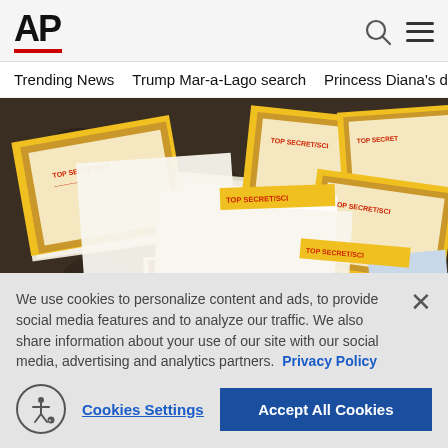AP
Trending News   Trump Mar-a-Lago search   Princess Diana's dea
[Figure (photo): Classified documents spread on a table, many with yellow borders and TOP SECRET/SCI markings, laid out on a dark floral background at Mar-a-Lago]
We use cookies to personalize content and ads, to provide social media features and to analyze our traffic. We also share information about your use of our site with our social media, advertising and analytics partners. Privacy Policy
Cookies Settings   Accept All Cookies